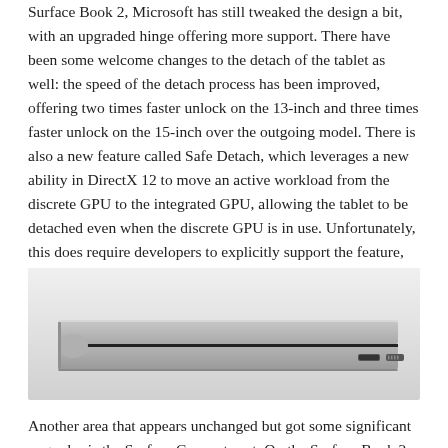Surface Book 2, Microsoft has still tweaked the design a bit, with an upgraded hinge offering more support. There have been some welcome changes to the detach of the tablet as well: the speed of the detach process has been improved, offering two times faster unlock on the 13-inch and three times faster unlock on the 15-inch over the outgoing model. There is also a new feature called Safe Detach, which leverages a new ability in DirectX 12 to move an active workload from the discrete GPU to the integrated GPU, allowing the tablet to be detached even when the discrete GPU is in use. Unfortunately, this does require developers to explicitly support the feature, and Microsoft offered up an example of World of Warcraft as an application which already takes advantage of this technology.
[Figure (photo): Side profile photo of a Microsoft Surface Book 2 laptop closed, showing the hinge and the USB-C port and Surface Connect port on the right side. The device is light silver/platinum colored against a white/light gray background.]
Another area that appears unchanged but got some significant upgrades is the Surface Connect port. On the Surface Book 2, the Surface Connect port, which is used for both charging and docking